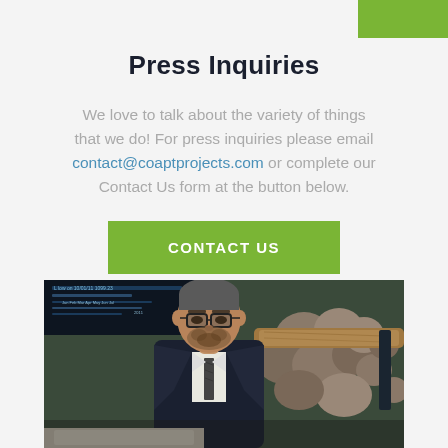Press Inquiries
We love to talk about the variety of things that we do! For press inquiries please email contact@coaptprojects.com or complete our Contact Us form at the button below.
[Figure (other): Green 'CONTACT US' button]
[Figure (photo): Man in suit with glasses looking at a computer screen, stone fireplace and wooden beam in background]